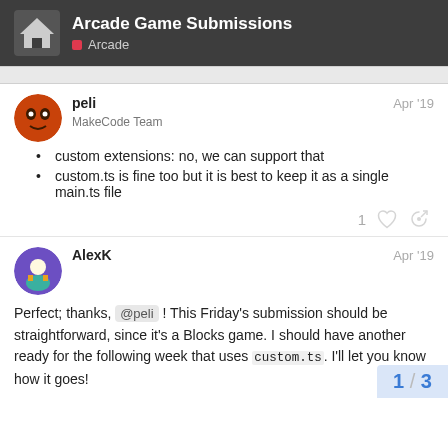Arcade Game Submissions — Arcade
peli — MakeCode Team — Apr '19
custom extensions: no, we can support that
custom.ts is fine too but it is best to keep it as a single main.ts file
AlexK — Apr '19
Perfect; thanks, @peli ! This Friday's submission should be straightforward, since it's a Blocks game. I should have another ready for the following week that uses custom.ts. I'll let you know how it goes!
1 / 3